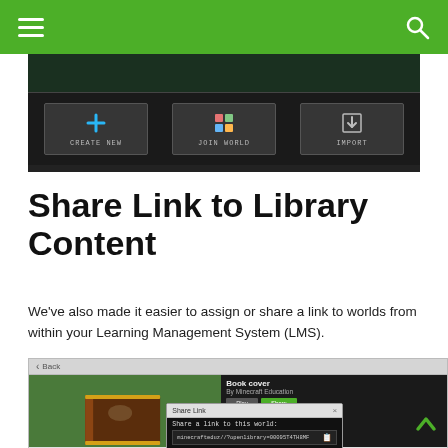[Figure (screenshot): Minecraft Education menu screenshot showing CREATE NEW, JOIN WORLD, and IMPORT buttons on a dark background]
Share Link to Library Content
We've also made it easier to assign or share a link to worlds from within your Learning Management System (LMS).
[Figure (screenshot): Minecraft Education screenshot showing Book cover world with Play and Share buttons, and a Share Link dialog showing a URL: minecrafteduz//?openlibrary=00095T4TH8MF]